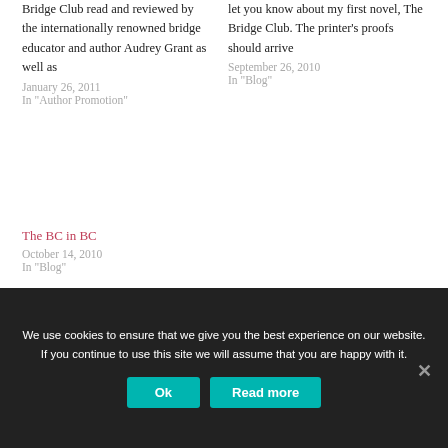Bridge Club read and reviewed by the internationally renowned bridge educator and author Audrey Grant as well as
January 26, 2011
In "Author Promotion"
let you know about my first novel, The Bridge Club. The printer's proofs should arrive
September 26, 2010
In "Blog"
The BC in BC
October 14, 2010
In "Blog"
We use cookies to ensure that we give you the best experience on our website. If you continue to use this site we will assume that you are happy with it.